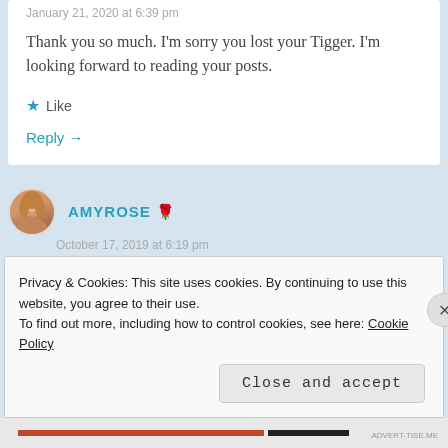January 21, 2020 at 6:39 pm
Thank you so much. I'm sorry you lost your Tigger. I'm looking forward to reading your posts.
★ Like
Reply →
AMYROSE 🌹
October 17, 2019 at 6:19 pm
Privacy & Cookies: This site uses cookies. By continuing to use this website, you agree to their use.
To find out more, including how to control cookies, see here: Cookie Policy
Close and accept